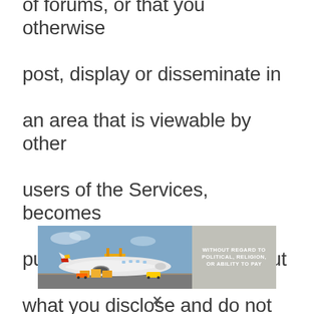of forums, or that you otherwise post, display or disseminate in an area that is viewable by other users of the Services, becomes public. Please be careful about what you disclose and do not disclose personal information that
[Figure (photo): Advertisement banner showing an airplane being loaded with cargo at an airport, with text overlay reading 'WITHOUT REGARD TO POLITICAL, RELIGION, OR ABILITY TO PAY']